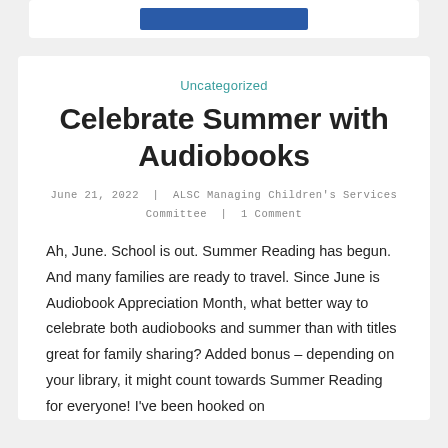[Figure (other): Blue button element at top of page inside a white card]
Uncategorized
Celebrate Summer with Audiobooks
June 21, 2022  |  ALSC Managing Children's Services Committee  |  1 Comment
Ah, June. School is out. Summer Reading has begun. And many families are ready to travel. Since June is Audiobook Appreciation Month, what better way to celebrate both audiobooks and summer than with titles great for family sharing? Added bonus – depending on your library, it might count towards Summer Reading for everyone! I've been hooked on